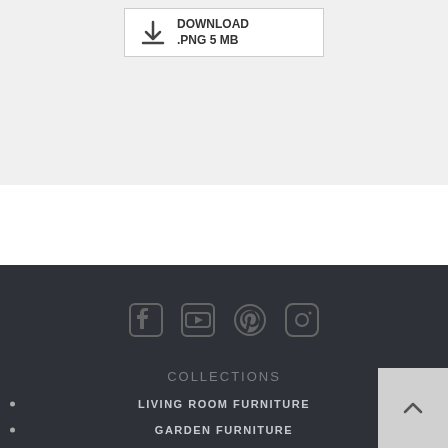[Figure (other): Download button showing .PNG 5 MB with a download arrow icon inside a bordered box on a light gray background]
[Figure (other): Footer with social media icons (Facebook, YouTube, Pinterest, Instagram), COLLECTIONS heading, and navigation links for LIVING ROOM FURNITURE and GARDEN FURNITURE on a dark background]